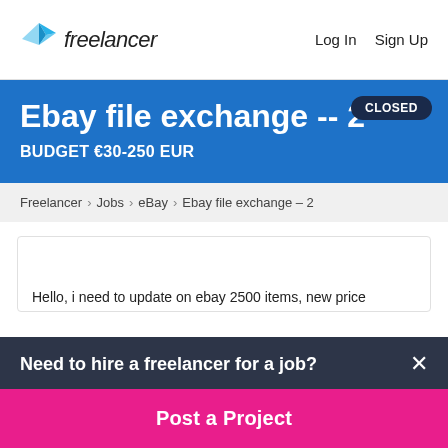freelancer   Log In   Sign Up
Ebay file exchange -- 2
BUDGET €30-250 EUR
CLOSED
Freelancer › Jobs › eBay › Ebay file exchange – 2
Hello, i need to update on ebay 2500 items, new price
Need to hire a freelancer for a job?
Post a Project